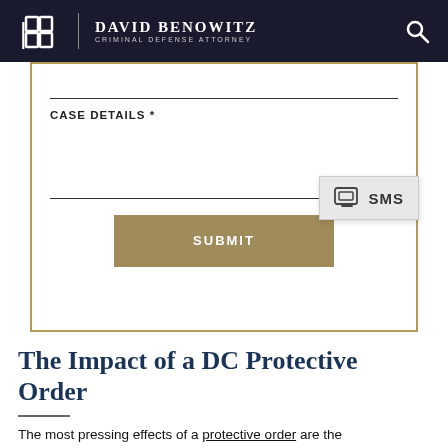David Benowitz Criminal Defense Attorney
[Figure (screenshot): Contact form with CASE DETAILS field, text area, and SUBMIT button. An SMS badge appears overlapping the right side of the form.]
The Impact of a DC Protective Order
The most pressing effects of a protective order are the